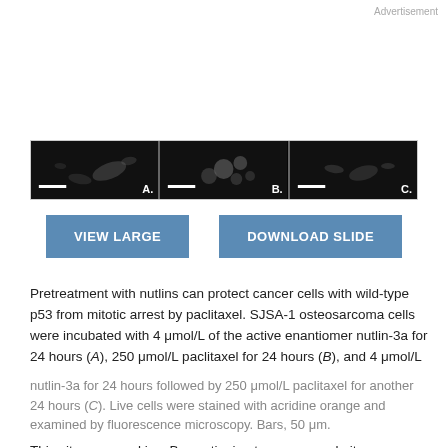Advertisement
[Figure (photo): Three fluorescence microscopy panels (A, B, C) showing SJSA-1 osteosarcoma cells stained with acridine orange. Panel A shows cells treated with nutlin-3a, Panel B with paclitaxel showing rounded/arrested cells, Panel C shows combined treatment. Each panel has a white scale bar in the lower left corner.]
VIEW LARGE
DOWNLOAD SLIDE
Pretreatment with nutlins can protect cancer cells with wild-type p53 from mitotic arrest by paclitaxel. SJSA-1 osteosarcoma cells were incubated with 4 μmol/L of the active enantiomer nutlin-3a for 24 hours (A), 250 μmol/L paclitaxel for 24 hours (B), and 4 μmol/L nutlin-3a for 24 hours followed by 250 μmol/L paclitaxel for another 24 hours (C). Live cells were stained with acridine orange and examined by fluorescence microscopy. Bars, 50 μm.
This site uses cookies. By continuing to use our website, you are agreeing to our privacy policy. Accept